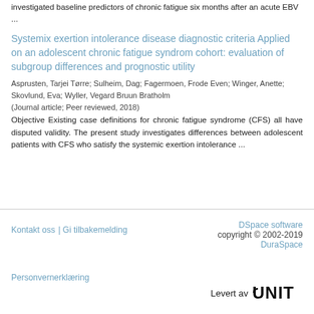investigated baseline predictors of chronic fatigue six months after an acute EBV ...
Systemix exertion intolerance disease diagnostic criteria Applied on an adolescent chronic fatigue syndrom cohort: evaluation of subgroup differences and prognostic utility
Asprusten, Tarjei Tørre; Sulheim, Dag; Fagermoen, Frode Even; Winger, Anette; Skovlund, Eva; Wyller, Vegard Bruun Bratholm
(Journal article; Peer reviewed, 2018)
Objective Existing case definitions for chronic fatigue syndrome (CFS) all have disputed validity. The present study investigates differences between adolescent patients with CFS who satisfy the systemic exertion intolerance ...
Kontakt oss | Gi tilbakemelding    DSpace software copyright © 2002-2019 DuraSpace    Personvernerklæring    Levert av UNIT